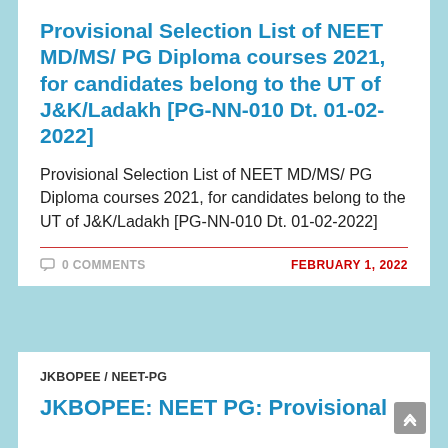Provisional Selection List of NEET MD/MS/ PG Diploma courses 2021, for candidates belong to the UT of J&K/Ladakh [PG-NN-010 Dt. 01-02-2022]
Provisional Selection List of NEET MD/MS/ PG Diploma courses 2021, for candidates belong to the UT of J&K/Ladakh [PG-NN-010 Dt. 01-02-2022]
0 COMMENTS
FEBRUARY 1, 2022
JKBOPEE / NEET-PG
JKBOPEE: NEET PG: Provisional